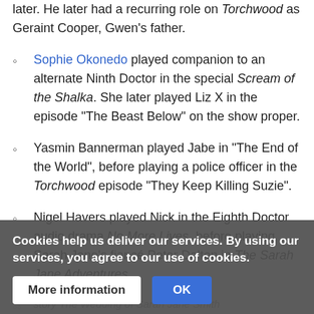later. He later had a recurring role on Torchwood as Geraint Cooper, Gwen's father.
Sophie Okonedo played companion to an alternate Ninth Doctor in the special Scream of the Shalka. She later played Liz X in the episode "The Beast Below" on the show proper.
Yasmin Bannerman played Jabe in "The End of the World", before playing a police officer in the Torchwood episode "They Keep Killing Suzie".
Nigel Havers played Nick in the Eighth Doctor audio drama No More Lives, before playing Sarah Jane's fiancé Peter Dalton in The Sarah Jane Adventures story The Wedding of Sarah Jane Smith.
Dan Starkey played various Sontarans on the Doctor Who... Sontaran Field Major Kaersh in The Adventures...
Cookies help us deliver our services. By using our services, you agree to our use of cookies.
More information
OK